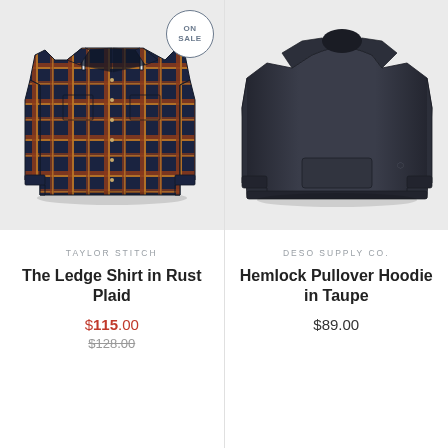[Figure (photo): Flannel shirt in rust and navy plaid pattern, shown flat with sleeves extended, on a light gray background. An 'ON SALE' circular badge in the top right corner.]
[Figure (photo): Dark navy/taupe pullover hoodie, shown flat on a light gray background.]
TAYLOR STITCH
The Ledge Shirt in Rust Plaid
$115.00
$128.00
DESO SUPPLY CO.
Hemlock Pullover Hoodie in Taupe
$89.00